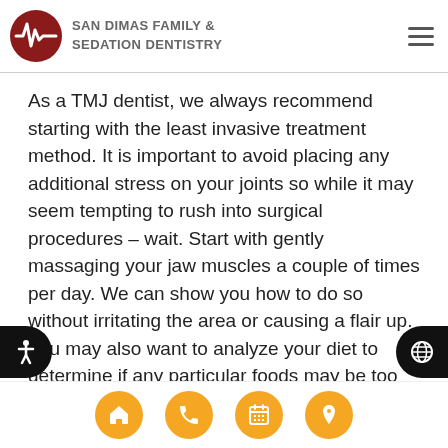SAN DIMAS FAMILY & SEDATION DENTISTRY
As a TMJ dentist, we always recommend starting with the least invasive treatment method. It is important to avoid placing any additional stress on your joints so while it may seem tempting to rush into surgical procedures – wait. Start with gently massaging your jaw muscles a couple of times per day. We can show you how to do so without irritating the area or causing a flair up. You may also want to analyze your diet to determine if any particular foods may be too difficult to chew, thereby making the problem worse. At San Dimas